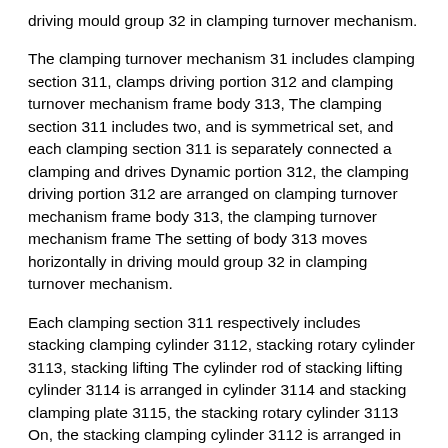driving mould group 32 in clamping turnover mechanism.
The clamping turnover mechanism 31 includes clamping section 311, clamps driving portion 312 and clamping turnover mechanism frame body 313, The clamping section 311 includes two, and is symmetrical set, and each clamping section 311 is separately connected a clamping and drives Dynamic portion 312, the clamping driving portion 312 are arranged on clamping turnover mechanism frame body 313, the clamping turnover mechanism frame The setting of body 313 moves horizontally in driving mould group 32 in clamping turnover mechanism.
Each clamping section 311 respectively includes stacking clamping cylinder 3112, stacking rotary cylinder 3113, stacking lifting The cylinder rod of stacking lifting cylinder 3114 is arranged in cylinder 3114 and stacking clamping plate 3115, the stacking rotary cylinder 3113 On, the stacking clamping cylinder 3112 is arranged in the cylinder rod of stacking rotary cylinder 3113, the stacking clamping cylinder Stacking clamping plate 3115 is provided in 3112 cylinder rod, the stacking lifting cylinder 3114 is connected